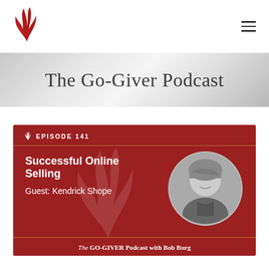[Figure (logo): Red feather/flame logo mark in top left corner]
The Go-Giver Podcast
[Figure (infographic): Episode 141 card on dark red background. Title: Successful Online Selling. Guest: Kendrick Shope. Shows circular black-and-white headshot of a woman with bangs smiling. Footer reads: The GO-GIVER Podcast with Bob Burg]